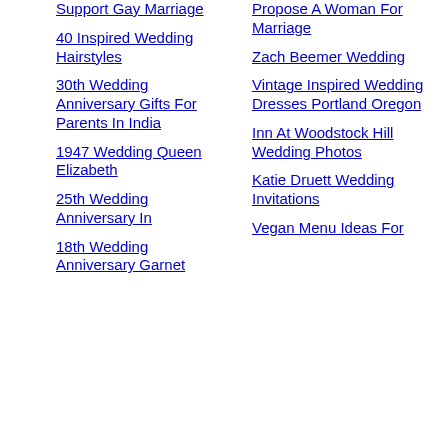Support Gay Marriage
40 Inspired Wedding Hairstyles
30th Wedding Anniversary Gifts For Parents In India
1947 Wedding Queen Elizabeth
25th Wedding Anniversary In
18th Wedding Anniversary Garnet
Propose A Woman For Marriage
Zach Beemer Wedding
Vintage Inspired Wedding Dresses Portland Oregon
Inn At Woodstock Hill Wedding Photos
Katie Druett Wedding Invitations
Vegan Menu Ideas For